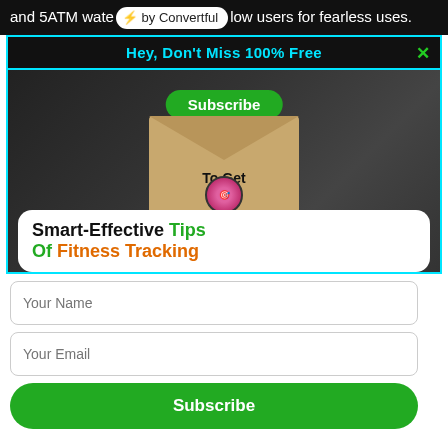and 5ATM water resistance allow users for fearless uses.
Hey, Don't Miss 100% Free
[Figure (illustration): Email subscription promotional banner showing an envelope with a Subscribe button and text 'To Get', overlaid with a white rounded box reading 'Smart-Effective Tips Of Fitness Tracking', on a dark background with fitness equipment]
Your Name
Your Email
Subscribe